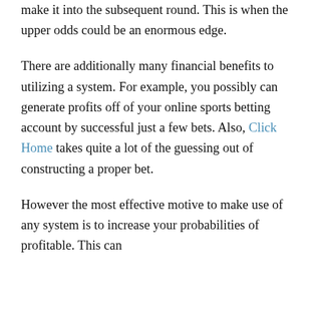make it into the subsequent round. This is when the upper odds could be an enormous edge.
There are additionally many financial benefits to utilizing a system. For example, you possibly can generate profits off of your online sports betting account by successful just a few bets. Also, Click Home takes quite a lot of the guessing out of constructing a proper bet.
However the most effective motive to make use of any system is to increase your probabilities of profitable. This can